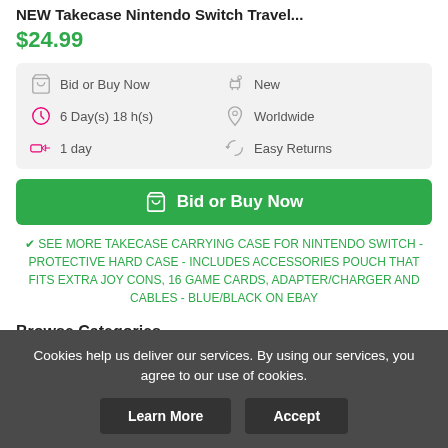NEW Takecase Nintendo Switch Travel...
$24.99
Bid or Buy Now | New | 6 Day(s) 18 h(s) | Worldwide | 1 day | Easy Returns
Bid or Buy Now
✔ SEE MORE TAKECASE CARRYING CASE FOR NINTENDO SWITCH - PROTECTIVE HARD CASE - INCLUDES ACCESSORIES POUCH THAT FITS EXTRA JOY CONS, 16 GAME CARDS, ADAPTER/CHARGER AND CABLES - BLUE/BLACK ON EBAY
Browse Categories
Cookies help us deliver our services. By using our services, you agree to our use of cookies.
Learn More | Accept